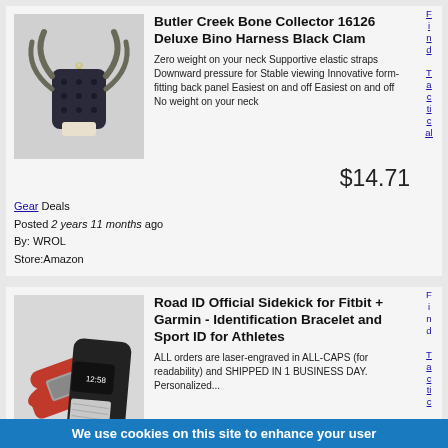[Figure (photo): Butler Creek Bone Collector binocular harness in black with gold deer skull logo, shot against white background]
Butler Creek Bone Collector 16126 Deluxe Bino Harness Black Clam
Zero weight on your neck Supportive elastic straps Downward pressure for Stable viewing Innovative form-fitting back panel Easiest on and off Easiest on and off No weight on your neck
$14.71
Find Tactical
Gear Deals
Posted 2 years 11 months ago
By: WROL
Store:Amazon
[Figure (photo): Road ID Sidekick identification bracelets for Fitbit and Garmin in red/black and black colorways]
Road ID Official Sidekick for Fitbit + Garmin - Identification Bracelet and Sport ID for Athletes
ALL orders are laser-engraved in ALL-CAPS (for readability) and SHIPPED IN 1 BUSINESS DAY. Personalized...
Find Tactical
We use cookies on this site to enhance your user